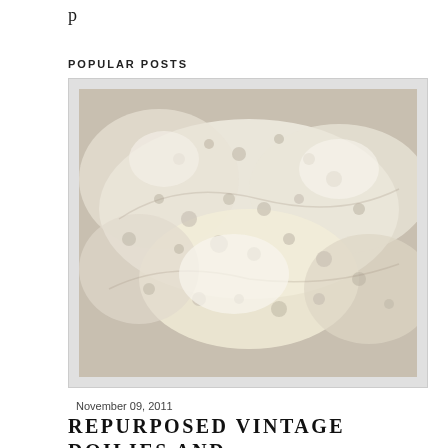p
POPULAR POSTS
[Figure (photo): Pile of vintage white crocheted lace doilies stacked and overlapping on a light surface]
November 09, 2011
REPURPOSED VINTAGE DOILIES AND FRAMES